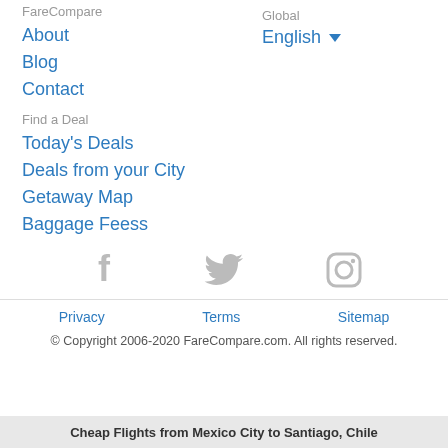FareCompare
Global
About
English ▼
Blog
Contact
Find a Deal
Today's Deals
Deals from your City
Getaway Map
Baggage Feess
[Figure (illustration): Social media icons: Facebook, Twitter, Instagram in gray]
Privacy
Terms
Sitemap
© Copyright 2006-2020 FareCompare.com. All rights reserved.
Cheap Flights from Mexico City to Santiago, Chile